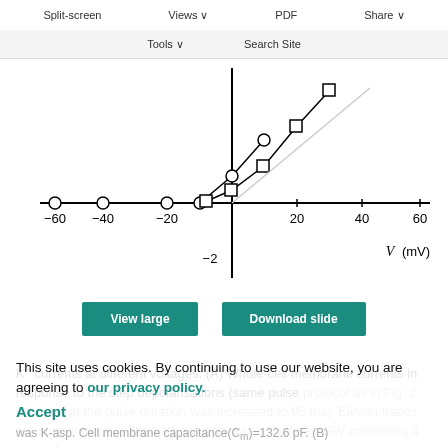Split-screen  Views  PDF  Share
Tools  Search Site
[Figure (continuous-plot): I-V curve showing K+ currents at different voltages. X-axis labeled V (mV) ranging from -60 to 60 mV. Y-axis shows current values from -2 upward. Two curves plotted: one with open circle markers (lower) and one with open square markers (upper), both crossing near origin and rising steeply for positive voltages.]
View large   Download slide
K+ currents at different voltages. (A) Whole-cell membrane currents in response to the step depolarisations (same pulse protocol as in Fig. 2 except that the pulse duration was increased to 95 ms). Eleven traces are superimposed. The bath solution was a Ca-free-ASW containing 4 μmol l⁻¹ TTX and the pipette solution was K-asp. Cell membrane capacitance(Cm)=132.6 pF. (B)
This site uses cookies. By continuing to use our website, you are agreeing to our privacy policy.
Accept